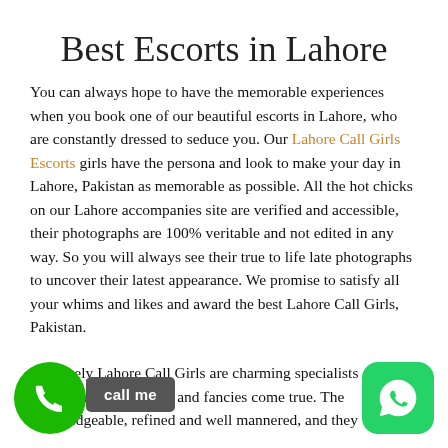Best Escorts in Lahore
You can always hope to have the memorable experiences when you book one of our beautiful escorts in Lahore, who are constantly dressed to seduce you. Our Lahore Call Girls Escorts girls have the persona and look to make your day in Lahore, Pakistan as memorable as possible. All the hot chicks on our Lahore accompanies site are verified and accessible, their photographs are 100% veritable and not edited in any way. So you will always see their true to life late photographs to uncover their latest appearance. We promise to satisfy all your whims and likes and award the best Lahore Call Girls, Pakistan.
our lovely Lahore Call Girls are charming specialists of making all your whims and fancies come true. They are knowledgeable, refined and well mannered, and they won't